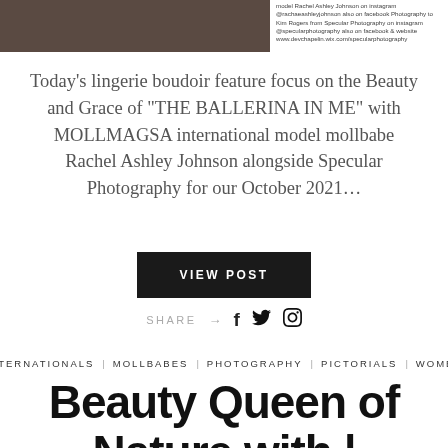[Figure (photo): Partial photo of a person, dark warm-toned background, cropped at top left]
model Rachel Ashley Johnson on instagram @rachaeashleyjohnson also on facebook Photography to Kim Rogers from Specular Photography on instagram @specularphotography also on facebook & website www.devchapelin.wix.com/specularphotography
Today’s lingerie boudoir feature focus on the Beauty and Grace of “THE BALLERINA IN ME” with MOLLMAGSA international model mollbabe Rachel Ashley Johnson alongside Specular Photography for our October 2021…
VIEW POST
SHARE → f 🐦 📌
INTERNATIONALS
MOLLBABES
PHOTOGRAPHY
PICTORIALS
WOMEN
Beauty Queen of Nature with |